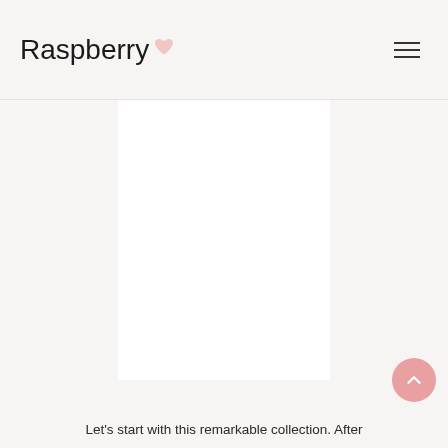Raspberry
[Figure (photo): Large white image area representing a product or fashion photo placeholder]
Let's start with this remarkable collection. After